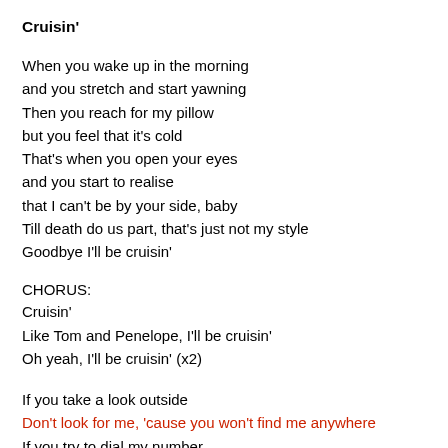Cruisin'
When you wake up in the morning
and you stretch and start yawning
Then you reach for my pillow
but you feel that it's cold
That's when you open your eyes
and you start to realise
that I can't be by your side, baby
Till death do us part, that's just not my style
Goodbye I'll be cruisin'
CHORUS:
Cruisin'
Like Tom and Penelope, I'll be cruisin'
Oh yeah, I'll be cruisin' (x2)
If you take a look outside
Don't look for me, 'cause you won't find me anywhere
If you try to dial my number